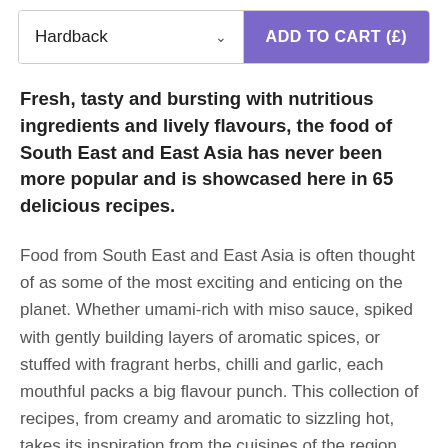[Figure (screenshot): UI widget showing a 'Hardback' dropdown selector on the left and a purple 'ADD TO CART (£)' button on the right]
Fresh, tasty and bursting with nutritious ingredients and lively flavours, the food of South East and East Asia has never been more popular and is showcased here in 65 delicious recipes.
Food from South East and East Asia is often thought of as some of the most exciting and enticing on the planet. Whether umami-rich with miso sauce, spiked with gently building layers of aromatic spices, or stuffed with fragrant herbs, chilli and garlic, each mouthful packs a big flavour punch. This collection of recipes, from creamy and aromatic to sizzling hot, takes its inspiration from the cuisines of the region and is a must for any lover of exciting food experiences. Whether you need inspiration for small bites and platters for sharing with drinks, or speedy weekday dishes, you'll find the